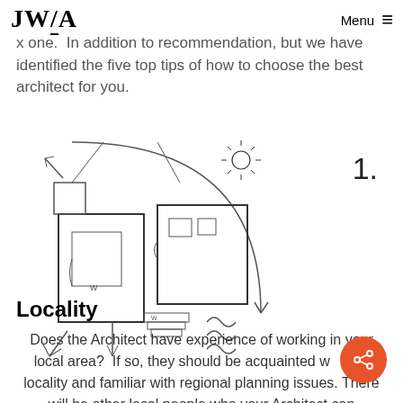JW/A  Menu ≡
x one.  In addition to recommendation, but we have identified the five top tips of how to choose the best architect for you.
[Figure (engineering-diagram): Architectural floor plan sketch with arrows and sun symbol, showing room layout with measurements and circulation arrows]
1.
Locality
Does the Architect have experience of working in your local area?  If so, they should be acquainted with the locality and familiar with regional planning issues. There will be other local people who your Architect can